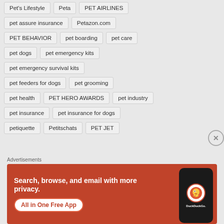Pet's Lifestyle
Peta
PET AIRLINES
pet assure insurance
Petazon.com
PET BEHAVIOR
pet boarding
pet care
pet dogs
pet emergency kits
pet emergency survival kits
pet feeders for dogs
pet grooming
pet health
PET HERO AWARDS
pet industry
pet insurance
pet insurance for dogs
petiquette
Petitschats
PET JET
Advertisements
[Figure (screenshot): DuckDuckGo advertisement banner: orange background with text 'Search, browse, and email with more privacy. All in One Free App' and a phone graphic showing DuckDuckGo app icon.]